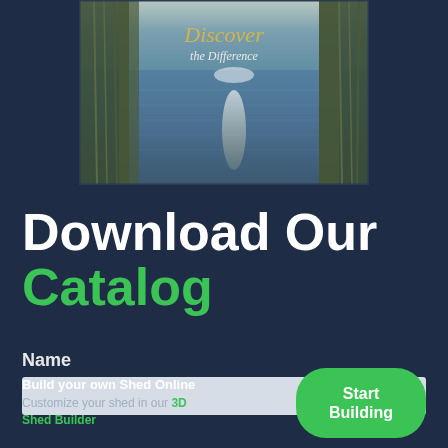[Figure (photo): Catalog cover with scenic lake and reeds, text reading 'Discover the Difference' in gold/white script]
Download Our Catalog
Name
Build your own Shed Online
Customize your shed in our 3D Shed Builder
Start Building